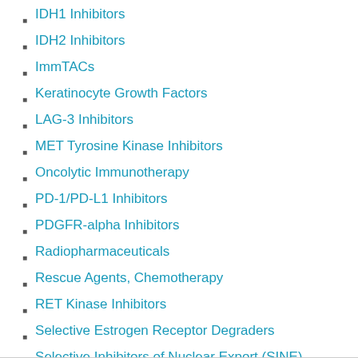IDH1 Inhibitors
IDH2 Inhibitors
ImmTACs
Keratinocyte Growth Factors
LAG-3 Inhibitors
MET Tyrosine Kinase Inhibitors
Oncolytic Immunotherapy
PD-1/PD-L1 Inhibitors
PDGFR-alpha Inhibitors
Radiopharmaceuticals
Rescue Agents, Chemotherapy
RET Kinase Inhibitors
Selective Estrogen Receptor Degraders
Selective Inhibitors of Nuclear Export (SINE)
Thymidine Phosphorylase Inhibitors
Thymidylate Synthetase Inhibitors
Uroprotectants